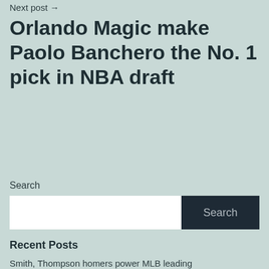Next post →
Orlando Magic make Paolo Banchero the No. 1 pick in NBA draft
Search
Recent Posts
Smith, Thompson homers power MLB leading